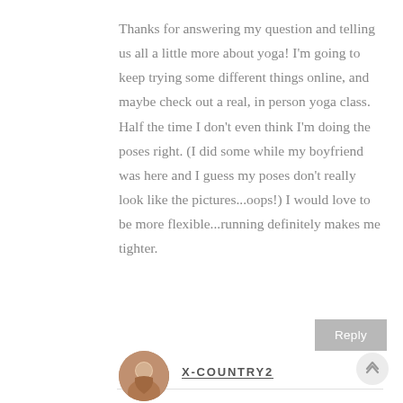Thanks for answering my question and telling us all a little more about yoga! I'm going to keep trying some different things online, and maybe check out a real, in person yoga class. Half the time I don't even think I'm doing the poses right. (I did some while my boyfriend was here and I guess my poses don't really look like the pictures...oops!) I would love to be more flexible...running definitely makes me tighter.
Reply
X-COUNTRY2